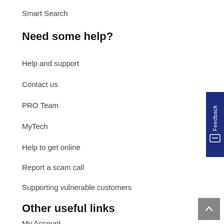Smart Search
Need some help?
Help and support
Contact us
PRO Team
MyTech
Help to get online
Report a scam call
Supporting vulnerable customers
Other useful links
My Account